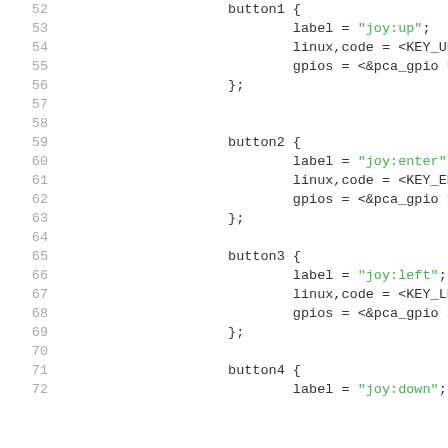[Figure (screenshot): Source code listing showing device tree button configuration nodes (button1 through button4) with line numbers 52-72. Code uses monospace font with green strings and gray line numbers on white background.]